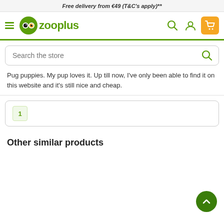Free delivery from €49 (T&C's apply)**
[Figure (logo): Zooplus logo with hamburger menu, search icon, user icon, and orange cart icon on navigation bar]
[Figure (screenshot): Search bar with placeholder text 'Search the store' and green search icon]
Pug puppies. My pup loves it. Up till now, I've only been able to find it on this website and it's still nice and cheap.
1
Other similar products